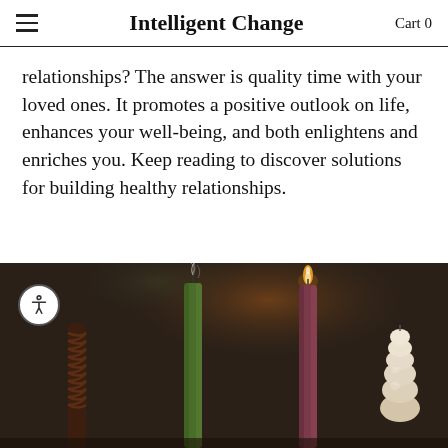Intelligent Change   Cart 0
relationships? The answer is quality time with your loved ones. It promotes a positive outlook on life, enhances your well-being, and both enlightens and enriches you. Keep reading to discover solutions for building healthy relationships.
[Figure (photo): Photograph of four decorative candles against a dark background. From left to right: a twisted dark brown candle, a tall straight green candle with smoke rising, a lit burgundy/mauve taper candle with a flame, and a stacked bubble-shaped cream candle.]